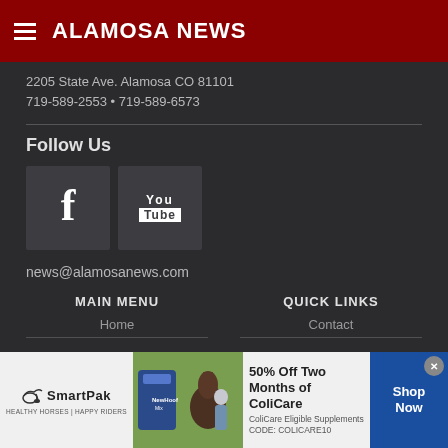ALAMOSA NEWS
2205 State Ave. Alamosa CO 81101
719-589-2553 • 719-589-6573
Follow Us
[Figure (logo): Facebook and YouTube social media icon buttons]
news@alamosanews.com
MAIN MENU
QUICK LINKS
Home
Contact
[Figure (infographic): SmartPak advertisement banner: 50% Off Two Months of ColiCare, ColiCare Eligible Supplements, CODE: COLICARE10, Shop Now]